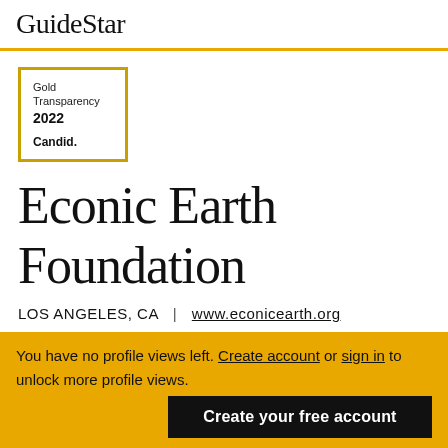GuideStar
[Figure (logo): Gold Transparency 2022 Candid. badge with gold border]
Econic Earth Foundation
LOS ANGELES, CA | www.econicearth.org
You have no profile views left. Create account or sign in to unlock more profile views. Create your free account